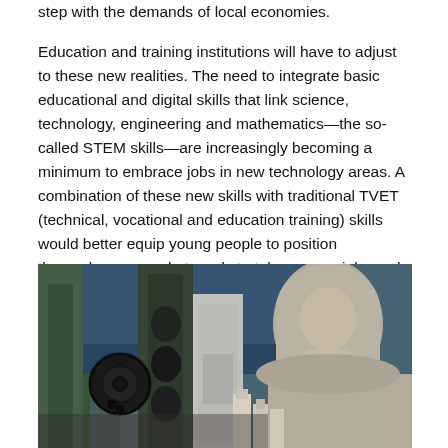step with the demands of local economies.
Education and training institutions will have to adjust to these new realities. The need to integrate basic educational and digital skills that link science, technology, engineering and mathematics—the so-called STEM skills—are increasingly becoming a minimum to embrace jobs in new technology areas. A combination of these new skills with traditional TVET (technical, vocational and education training) skills would better equip young people to position themselves as market-ready to take on new jobs and prepare to change jobs in a matter of a few years.
[Figure (photo): A person wearing a hijab working with industrial machinery and equipment in what appears to be a vocational or technical training setting. The background shows green and dark industrial machines, with bottles or containers visible in the foreground.]